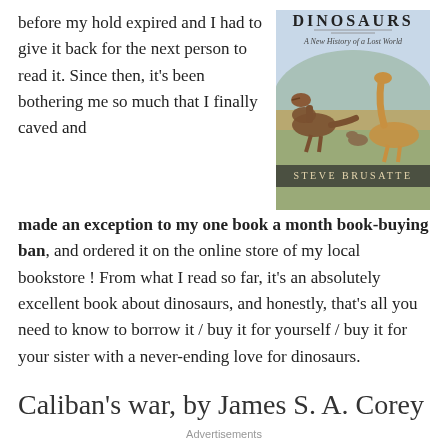before my hold expired and I had to give it back for the next person to read it. Since then, it's been bothering me so much that I finally caved and
[Figure (illustration): Book cover of 'Dinosaurs: A New History of a Lost World' by Steve Brusatte, showing illustrated dinosaurs in a prehistoric landscape]
made an exception to my one book a month book-buying ban, and ordered it on the online store of my local bookstore ! From what I read so far, it's an absolutely excellent book about dinosaurs, and honestly, that's all you need to know to borrow it / buy it for yourself / buy it for your sister with a never-ending love for dinosaurs.
Caliban's war, by James S. A. Corey
Advertisements